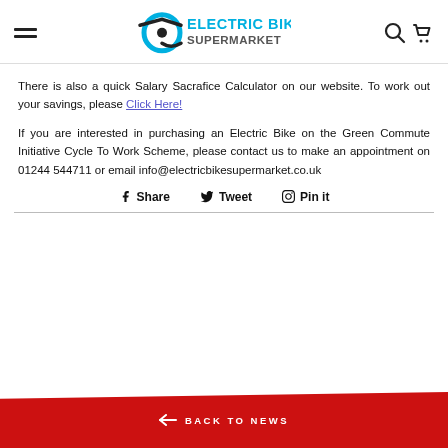Electric Bike Supermarket – navigation header with logo, hamburger menu, search and cart icons
There is also a quick Salary Sacrafice Calculator on our website. To work out your savings, please Click Here!
If you are interested in purchasing an Electric Bike on the Green Commute Initiative Cycle To Work Scheme, please contact us to make an appointment on 01244 544711 or email info@electricbikesupermarket.co.uk
Share  Tweet  Pin it
← BACK TO NEWS